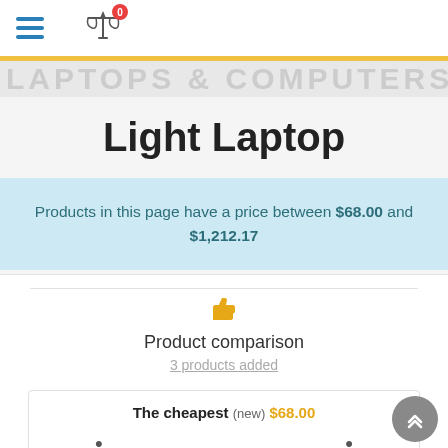Navigation bar with hamburger menu and scale/compare icon with badge 0
Light Laptop
Products in this page have a price between $68.00 and $1,212.17
Product comparison
3 products added
The cheapest (new) $68.00